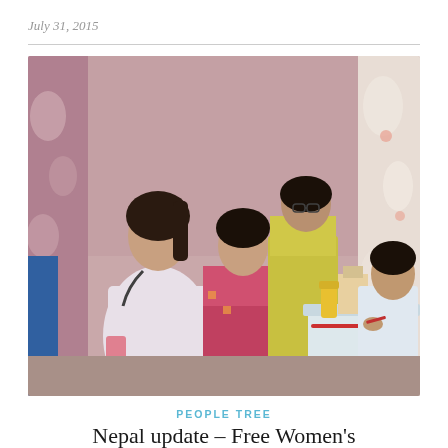July 31, 2015
[Figure (photo): A medical camp scene in Nepal showing a healthcare worker in white coat sitting across a table from women patients, with medical supplies on the table and patterned curtains in the background.]
PEOPLE TREE
Nepal update – Free Women's health, Eye check up and surgeries camp